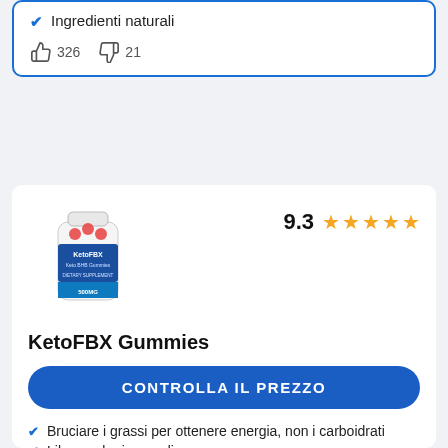✔ Ingredienti naturali
👍 326   👎 21
[Figure (photo): Product photo of KetoFBX Gummies bottle with red gummies visible]
9.3 ★★★★★
KetoFBX Gummies
CONTROLLA IL PREZZO
Bruciare i grassi per ottenere energia, non i carboidrati
Liberare le riserve di grasso
Increase Energy Naturally!